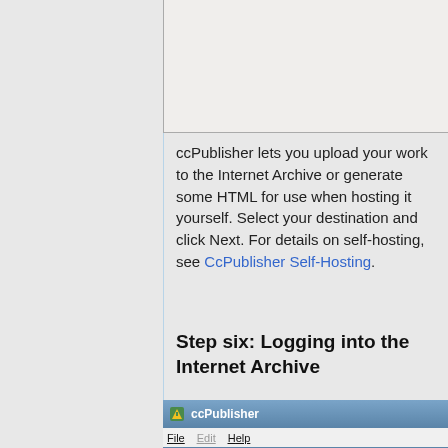[Figure (screenshot): Top portion of a ccPublisher application screenshot, showing a gray/beige dialog area (cropped at top)]
ccPublisher lets you upload your work to the Internet Archive or generate some HTML for use when hosting it yourself. Select your destination and click Next. For details on self-hosting, see CcPublisher Self-Hosting.
Step six: Logging into the Internet Archive
[Figure (screenshot): ccPublisher application window showing the Internet Archive login screen with title bar, menu bar (File, Edit, Help), 'Internet Archive' heading in bold, and partial text 'Enter your Internet Archive username an...']